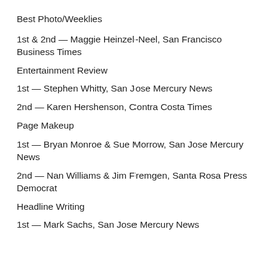Best Photo/Weeklies
1st & 2nd — Maggie Heinzel-Neel, San Francisco Business Times
Entertainment Review
1st — Stephen Whitty, San Jose Mercury News
2nd — Karen Hershenson, Contra Costa Times
Page Makeup
1st — Bryan Monroe & Sue Morrow, San Jose Mercury News
2nd — Nan Williams & Jim Fremgen, Santa Rosa Press Democrat
Headline Writing
1st — Mark Sachs, San Jose Mercury News